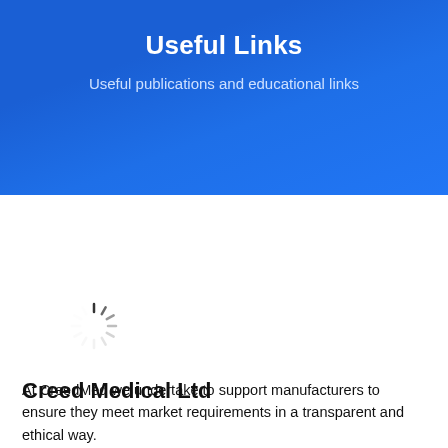Useful Links
Useful publications and educational links
[Figure (other): Loading spinner graphic (animated loading indicator)]
Creed Medical Ltd
At CreedMed we undertake to support manufacturers to ensure they meet market requirements in a transparent and ethical way.